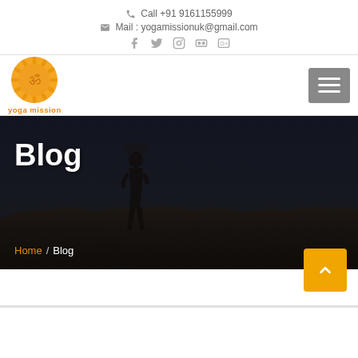Call +91 9161155999 | Mail : yogamissionuk@gmail.com
[Figure (logo): Yoga Mission logo with orange sun and Om symbol]
Blog
Home / Blog
[Figure (photo): Dark background hero image showing a person carrying a pot on head sitting on rocks at night]
Back to top button